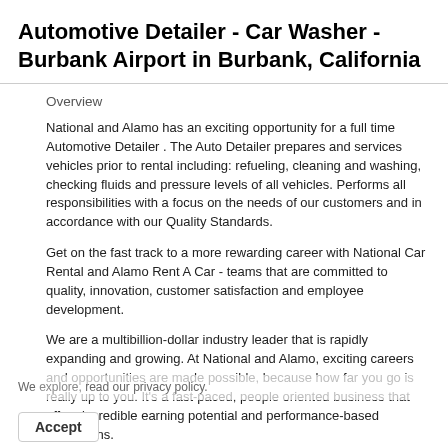Automotive Detailer - Car Washer - Burbank Airport in Burbank, California
Overview
National and Alamo has an exciting opportunity for a full time Automotive Detailer . The Auto Detailer prepares and services vehicles prior to rental including: refueling, cleaning and washing, checking fluids and pressure levels of all vehicles. Performs all responsibilities with a focus on the needs of our customers and in accordance with our Quality Standards.
Get on the fast track to a more rewarding career with National Car Rental and Alamo Rent A Car - teams that are committed to quality, innovation, customer satisfaction and employee development.
We are a multibillion-dollar industry leader that is rapidly expanding and growing. At National and Alamo, exciting careers and opportunities are made possible, because how far you go is really up to you. It's a fast-paced, people oriented business that offers incredible earning potential and performance-based promotions.
Our philosophy is to take care of our customers and employees first. We know if we do this, success will follow - for both our
We explore, read our privacy policy.
Accept